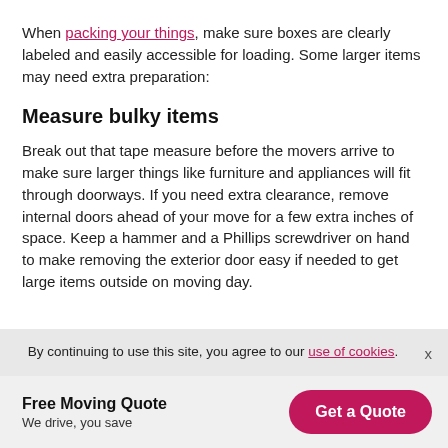When packing your things, make sure boxes are clearly labeled and easily accessible for loading. Some larger items may need extra preparation:
Measure bulky items
Break out that tape measure before the movers arrive to make sure larger things like furniture and appliances will fit through doorways. If you need extra clearance, remove internal doors ahead of your move for a few extra inches of space. Keep a hammer and a Phillips screwdriver on hand to make removing the exterior door easy if needed to get large items outside on moving day.
By continuing to use this site, you agree to our use of cookies.
Free Moving Quote
We drive, you save